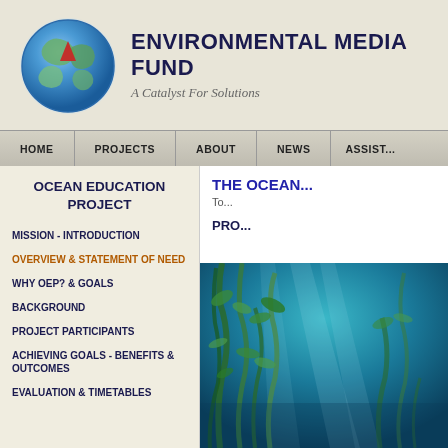[Figure (logo): Environmental Media Fund logo: globe with red triangle, organization name and tagline]
HOME | PROJECTS | ABOUT | NEWS | ASSIST...
OCEAN EDUCATION PROJECT
MISSION - INTRODUCTION
OVERVIEW & STATEMENT OF NEED
WHY OEP? & GOALS
BACKGROUND
PROJECT PARTICIPANTS
ACHIEVING GOALS - BENEFITS & OUTCOMES
EVALUATION & TIMETABLES
THE OCEAN...
To...
PRO...
[Figure (photo): Underwater ocean photo showing kelp forest with blue-green light filtering through]